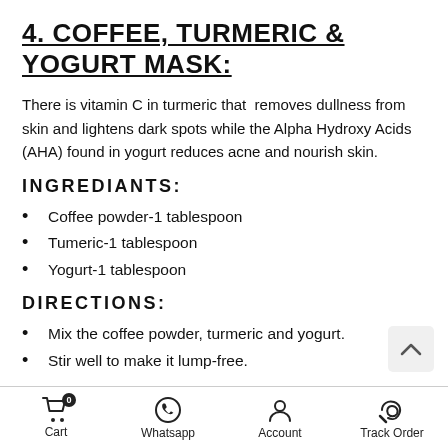4. COFFEE, TURMERIC & YOGURT MASK:
There is vitamin C in turmeric that removes dullness from skin and lightens dark spots while the Alpha Hydroxy Acids (AHA) found in yogurt reduces acne and nourish skin.
INGREDIANTS:
Coffee powder-1 tablespoon
Tumeric-1 tablespoon
Yogurt-1 tablespoon
DIRECTIONS:
Mix the coffee powder, turmeric and yogurt.
Stir well to make it lump-free.
Cart  Whatsapp  Account  Track Order